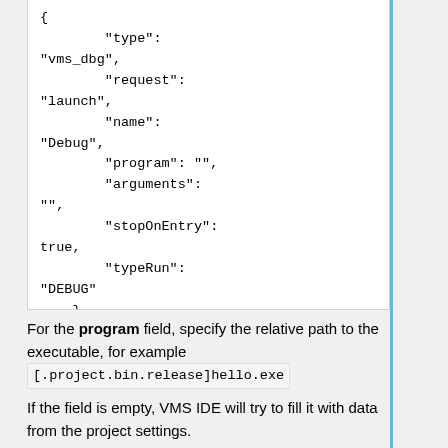{
                "type": "vms_dbg",
                "request": "launch",
                "name": "Debug",
                "program": "",
                "arguments": "",
                "stopOnEntry": true,
                "typeRun": "DEBUG"
            }
        ]
For the program field, specify the relative path to the executable, for example [.project.bin.release]hello.exe
If the field is empty, VMS IDE will try to fill it with data from the project settings.